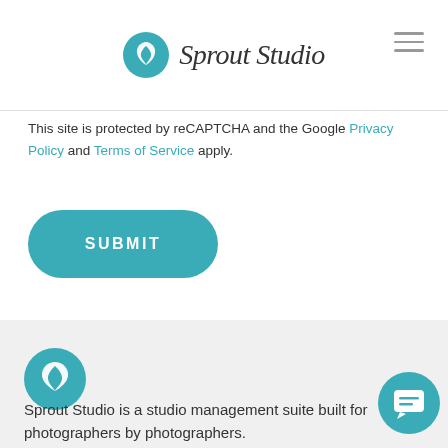Sprout Studio
This site is protected by reCAPTCHA and the Google Privacy Policy and Terms of Service apply.
SUBMIT
[Figure (logo): Sprout Studio leaf logo (teal circle with white leaf icon)]
Sprout Studio is a studio management suite built for photographers by photographers.